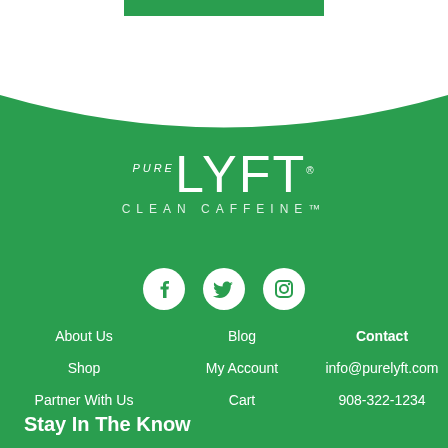[Figure (logo): pureLYFT Clean Caffeine logo in white on green background]
[Figure (infographic): Social media icons: Facebook, Twitter, Instagram in white circles]
About Us
Shop
Partner With Us
Blog
My Account
Cart
Contact
info@purelyft.com
908-322-1234
Stay In The Know